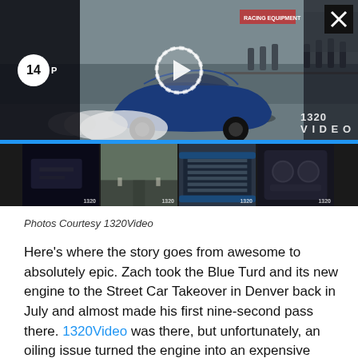[Figure (screenshot): Video gallery showing a blue sports car doing a burnout on a drag strip, with smoke billowing from the rear tires. A play button overlay is visible in the center. Number badge '14' and text 'P' visible in the lower left. 1320Video watermark in lower right. A thumbnail strip below shows four additional video thumbnails with navigation arrows. Blue bar separates main video from thumbnails.]
Photos Courtesy 1320Video
Here’s where the story goes from awesome to absolutely epic. Zach took the Blue Turd and its new engine to the Street Car Takeover in Denver back in July and almost made his first nine-second pass there. 1320Video was there, but unfortunately, an oiling issue turned the engine into an expensive paperweight. Zach